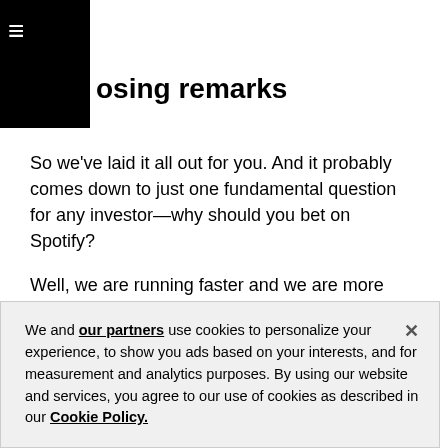Closing remarks
So we've laid it all out for you. And it probably comes down to just one fundamental question for any investor—why should you bet on Spotify?
Well, we are running faster and we are more focused than anyone else in audio. And as you could hear, audio and long form content is a much bigger business than what many would have thought.
As a consequence, we are building a model that no
We and our partners use cookies to personalize your experience, to show you ads based on your interests, and for measurement and analytics purposes. By using our website and services, you agree to our use of cookies as described in our Cookie Policy.